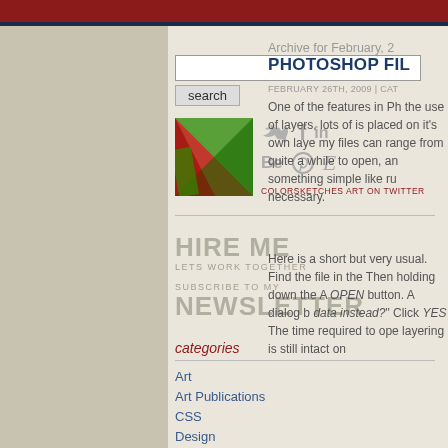search
[Figure (photo): Colorful red and green abstract art thumbnail]
COLORSKETCHES ART ON TWITTER
HIRE ME
LETS WORK TOGETHER
SUBSCRIBE TO MY
NEWSLETTER
categories
Art
Art Publications
CSS
Design
General
Lightroom
Archive for February, 2...
PHOTOSHOP FIL...
FEBRUARY 26TH, 2009 | CAT...
One of the features in Ph... the use of layers, lots of... is placed on it's own laye... my files can range from... quite a while to open, an... something like ru... necessary.
Here is a short but very... usual. Find the file in the... Then holding down the A... OPEN button. A dialog b... data instead?" Click YES... The time required to ope... layering is still intact on...